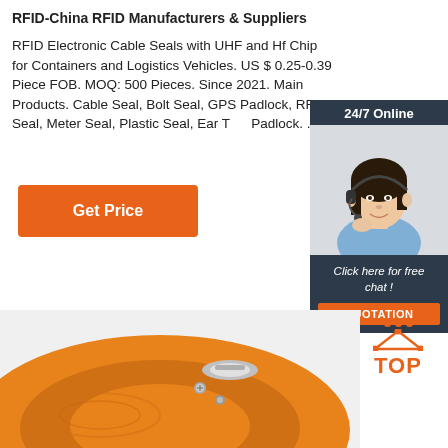RFID-China RFID Manufacturers & Suppliers
RFID Electronic Cable Seals with UHF and Hf Chip for Containers and Logistics Vehicles. US $ 0.25-0.39 Piece FOB. MOQ: 500 Pieces. Since 2021. Main Products. Cable Seal, Bolt Seal, GPS Padlock, RFID Seal, Meter Seal, Plastic Seal, Ear Tag, Padlock. ...
[Figure (other): Orange button labeled 'Get Price']
[Figure (other): 24/7 Online chat widget with photo of female customer service representative wearing headset, 'Click here for free chat!' text, and QUOTATION button]
[Figure (photo): Close-up of an orange RFID cable seal product with metal clasp]
[Figure (other): TOP navigation button with orange dots and triangle icon above the word TOP in orange]